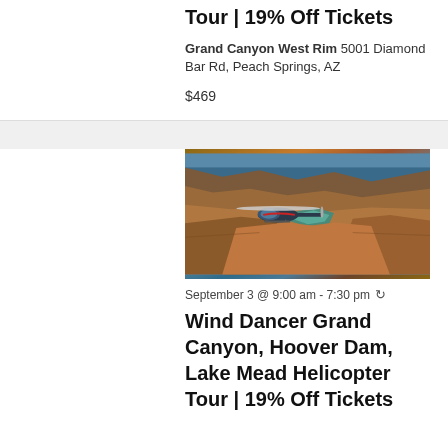Tour | 19% Off Tickets
Grand Canyon West Rim 5001 Diamond Bar Rd, Peach Springs, AZ
$469
SAT
3
[Figure (photo): Helicopter flying over the Grand Canyon with the Colorado River visible below and layered canyon walls in the background]
September 3 @ 9:00 am - 7:30 pm
Wind Dancer Grand Canyon, Hoover Dam, Lake Mead Helicopter Tour | 19% Off Tickets